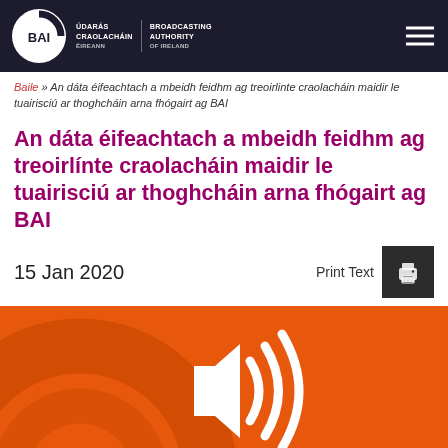[Figure (logo): BAI logo — Broadcasting Authority of Ireland header with dark navy background, BAI circular logo, Irish and English text, hamburger menu]
Baile » An dáta éifeachtach a mbeidh feidhm ag treoirlinte craolacháin maidir le tuairisciú ar thoghcháin arna fhógairt ag BAI
An dáta éifeachtach a mbeidh feidhm ag treoirlínte craolacháin maidir le tuairisciú ar thoghcháin arna fhógairt ag BAI
15 Jan 2020
[Figure (illustration): Orange background with a white speaker/audio icon in the center, representing a broadcast audio announcement]